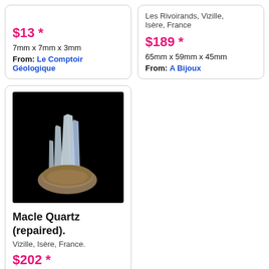$13 *
7mm x 7mm x 3mm
From: Le Comptoir Géologique
Les Rivoirands, Vizille, Isère, France
$189 *
65mm x 59mm x 45mm
From: A Bijoux
[Figure (photo): Crystal cluster (Macle Quartz) photographed against black background, showing clear quartz crystals with brown matrix base]
Macle Quartz (repaired).
Vizille, Isère, France.
$202 *